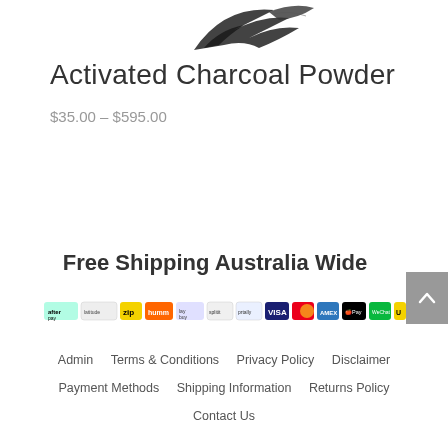[Figure (photo): Partial product image at top of page (cropped bird/plant illustration)]
Activated Charcoal Powder
$35.00 – $595.00
Free Shipping Australia Wide
[Figure (infographic): Row of payment method badges: Afterpay, LatitudePay, Zip, Humm, Laybuy, Splitit, Pairtally, Visa, Mastercard, Amex, Apple Pay, WeChat Pay, Zip, POLi]
Admin   Terms & Conditions   Privacy Policy   Disclaimer   Payment Methods   Shipping Information   Returns Policy   Contact Us